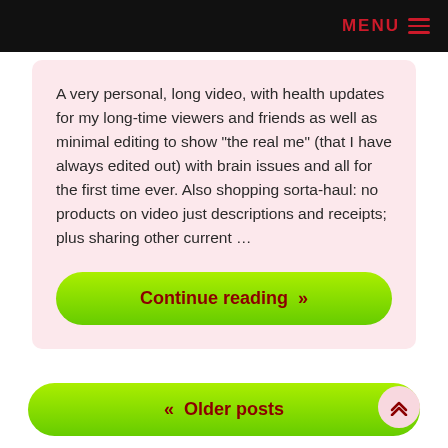MENU ≡
A very personal, long video, with health updates for my long-time viewers and friends as well as minimal editing to show “the real me” (that I have always edited out) with brain issues and all for the first time ever. Also shopping sorta-haul: no products on video just descriptions and receipts; plus sharing other current …
Continue reading »
« Older posts